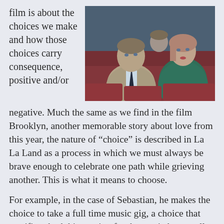film is about the choices we make and how those choices carry consequence, positive and/or negative.
[Figure (photo): Two actors (a man in a suit and tie, a woman in a green dress) sitting in red cinema seats, looking upward, from the film La La Land.]
Much the same as we find in the film Brooklyn, another memorable story about love from this year, the nature of “choice” is described in La La Land as a process in which we must always be brave enough to celebrate one path while grieving another. This is what it means to choose.
For example, in the case of Sebastian, he makes the choice to take a full time music gig, a choice that sacrifices both his passion for the music he actually